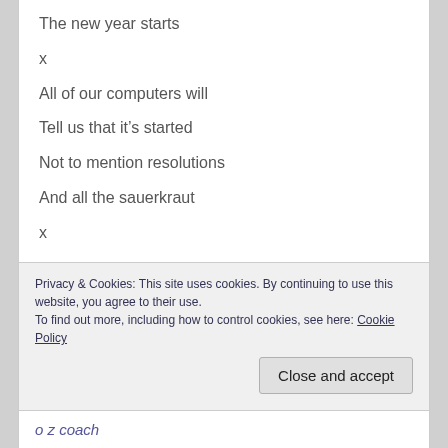The new year starts
x
All of our computers will
Tell us that it’s started
Not to mention resolutions
And all the sauerkraut
x
Which is to say
The new year is relative:
Privacy & Cookies: This site uses cookies. By continuing to use this website, you agree to their use.
To find out more, including how to control cookies, see here: Cookie Policy
o z coach